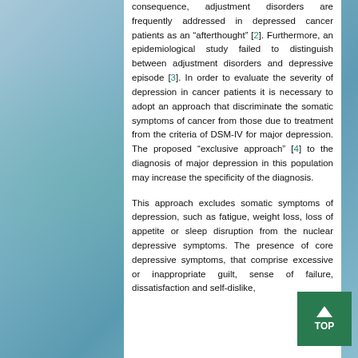consequence, adjustment disorders are frequently addressed in depressed cancer patients as an “afterthought” [2]. Furthermore, an epidemiological study failed to distinguish between adjustment disorders and depressive episode [3]. In order to evaluate the severity of depression in cancer patients it is necessary to adopt an approach that discriminate the somatic symptoms of cancer from those due to treatment from the criteria of DSM-IV for major depression. The proposed “exclusive approach” [4] to the diagnosis of major depression in this population may increase the specificity of the diagnosis.
This approach excludes somatic symptoms of depression, such as fatigue, weight loss, loss of appetite or sleep disruption from the nuclear depressive symptoms. The presence of core depressive symptoms, that comprise excessive or inappropriate guilt, sense of failure, dissatisfaction and self-dislike,